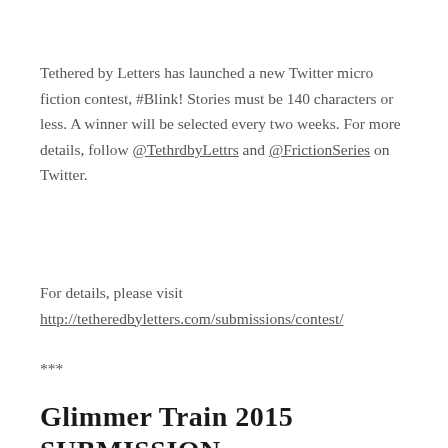Tethered by Letters has launched a new Twitter micro fiction contest, #Blink! Stories must be 140 characters or less. A winner will be selected every two weeks. For more details, follow @TethrdbyLettrs and @FrictionSeries on Twitter.
For details, please visit http://tetheredbyletters.com/submissions/contest/
***
Glimmer Train 2015 SUBMISSION